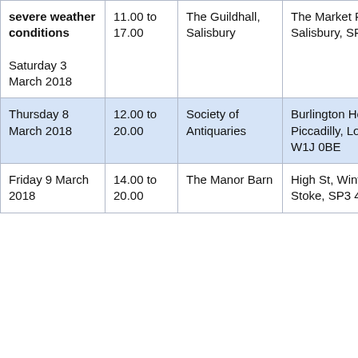| Date | Time | Venue | Address |
| --- | --- | --- | --- |
| severe weather conditions

Saturday 3 March 2018 | 11.00 to 17.00 | The Guildhall, Salisbury | The Market Place, Salisbury, SP1 1JH |
| Thursday 8 March 2018 | 12.00 to 20.00 | Society of Antiquaries | Burlington House, Piccadilly, London, W1J 0BE |
| Friday 9 March 2018 | 14.00 to 20.00 | The Manor Barn | High St, Winterbourne Stoke, SP3 4SZ |